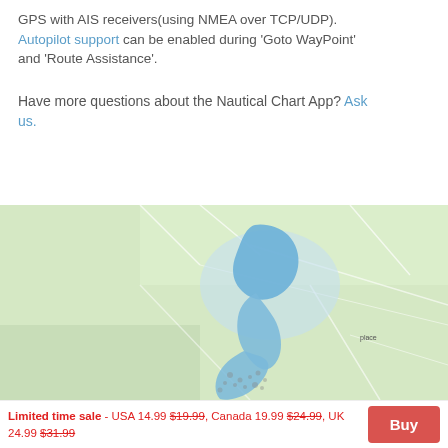GPS with AIS receivers(using NMEA over TCP/UDP). Autopilot support can be enabled during 'Goto WayPoint' and 'Route Assistance'.
Have more questions about the Nautical Chart App? Ask us.
[Figure (map): Nautical chart map showing a lake/waterway region with blue water bodies, green land, and topographic contour lines.]
Limited time sale - USA 14.99 $19.99, Canada 19.99 $24.99, UK 24.99 $31.99